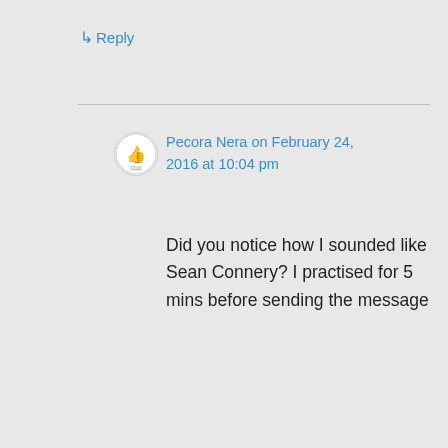↳ Reply
Pecora Nera on February 24, 2016 at 10:04 pm
Did you notice how I sounded like Sean Connery? I practised for 5 mins before sending the message
★ Liked by 1 person
↳ Reply
Gracefully Global on February 24, 2016 at